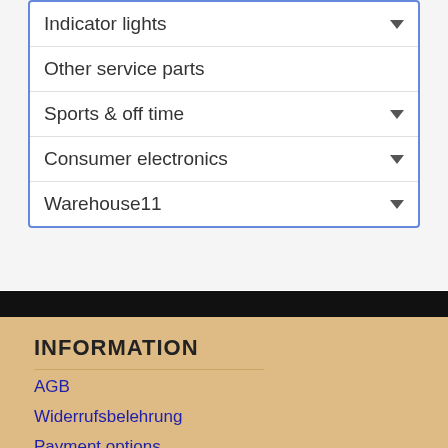Indicator lights
Other service parts
Sports & off time
Consumer electronics
Warehouse11
INFORMATION
AGB
Widerrufsbelehrung
Payment options
Shipping costs
Impressum
Datenschutzerklärung
Batteriegesetz (BattG)
News
Newsletter